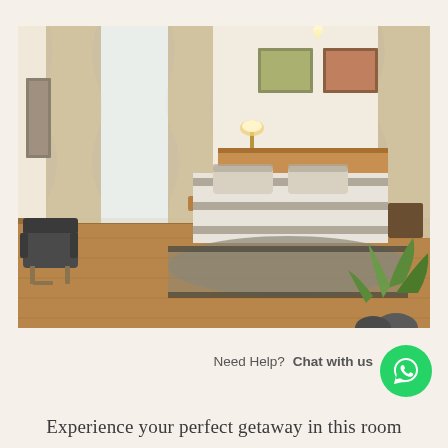[Figure (photo): Hotel room interior with a large double bed with striped bedding on a wooden platform, wooden headboard, two framed artworks on the wall, patterned curtains, a dark armchair on the left, a floor lamp, a nightstand, potted plants on the right, and hardwood flooring with a gray area rug.]
Need Help? Chat with us
Experience your perfect getaway in this room